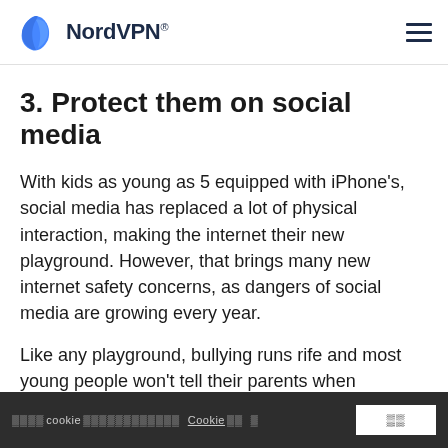NordVPN®
3. Protect them on social media
With kids as young as 5 equipped with iPhone's, social media has replaced a lot of physical interaction, making the internet their new playground. However, that brings many new internet safety concerns, as dangers of social media are growing every year.
Like any playground, bullying runs rife and most young people won't tell their parents when cyberbullying occurs. Thankfully, social media platforms have been quickly monitored and features. Instagram has its Restrict feature...
cookie Cookie